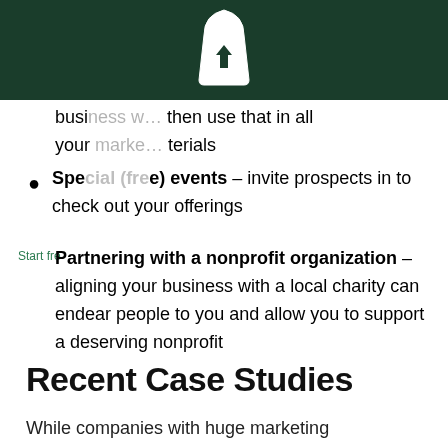[Figure (logo): White shopping bag logo on dark green header background]
business… then use that in all your marketing materials
Special (free) events – invite prospects in to check out your offerings
Partnering with a nonprofit organization – aligning your business with a local charity can endear people to you and allow you to support a deserving nonprofit
Recent Case Studies
While companies with huge marketing